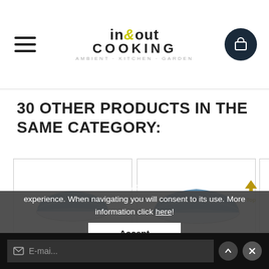in&out COOKING AMBIENT · KITCHEN · GARDEN
30 OTHER PRODUCTS IN THE SAME CATEGORY:
[Figure (photo): Small ceramic bowl with blue interior glaze]
Small Bowl...
76.95 €
[Figure (photo): Medium ceramic bowl with blue interior glaze]
Medium Bowl...
106 Kn...
[Figure (photo): Large bowl partially visible]
Lar
39-
This site uses cookies to provide you with a better browsing experience. When navigating you will consent to its use. More information click here!
Accept
E-mail...